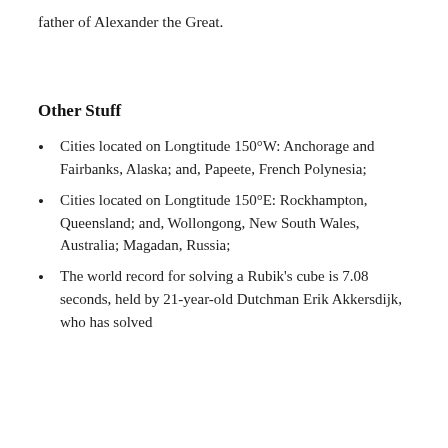father of Alexander the Great.
Other Stuff
Cities located on Longtitude 150°W: Anchorage and Fairbanks, Alaska; and, Papeete, French Polynesia;
Cities located on Longtitude 150°E: Rockhampton, Queensland; and, Wollongong, New South Wales, Australia; Magadan, Russia;
The world record for solving a Rubik's cube is 7.08 seconds, held by 21-year-old Dutchman Erik Akkersdijk, who has solved